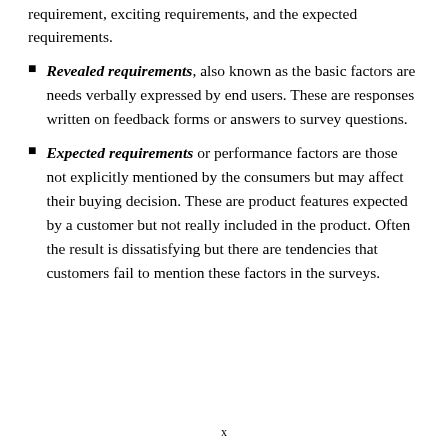requirement, exciting requirements, and the expected requirements.
Revealed requirements, also known as the basic factors are needs verbally expressed by end users. These are responses written on feedback forms or answers to survey questions.
Expected requirements or performance factors are those not explicitly mentioned by the consumers but may affect their buying decision. These are product features expected by a customer but not really included in the product. Often the result is dissatisfying but there are tendencies that customers fail to mention these factors in the surveys.
x